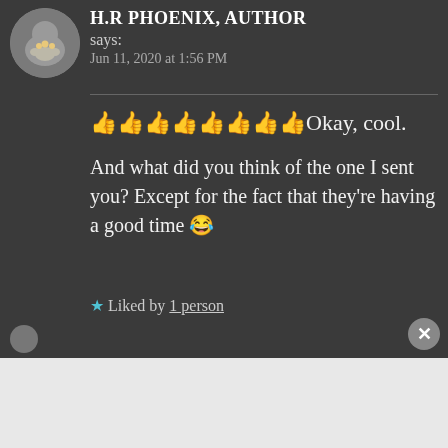[Figure (photo): Circular avatar photo of H.R Phoenix, showing a cat paw]
H.R PHOENIX, AUTHOR
says:
Jun 11, 2020 at 1:56 PM
👍👍👍👍👍👍👍👍Okay, cool.

And what did you think of the one I sent you? Except for the fact that they're having a good time 😂
★ Liked by 1 person
Advertisements
P2 Getting your team on the same page is easy. And free.